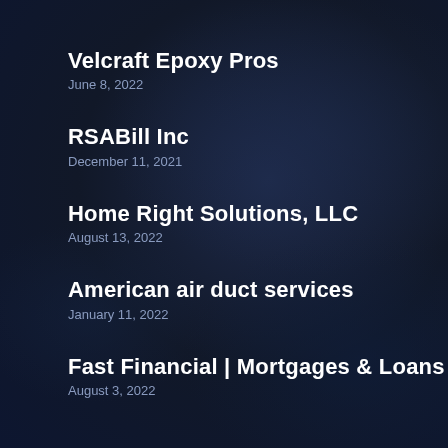Velcraft Epoxy Pros
June 8, 2022
RSABill Inc
December 11, 2021
Home Right Solutions, LLC
August 13, 2022
American air duct services
January 11, 2022
Fast Financial | Mortgages & Loans
August 3, 2022